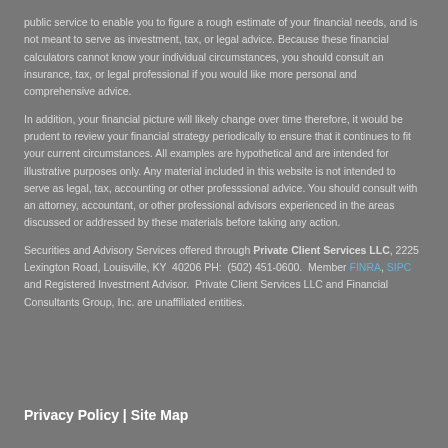public service to enable you to figure a rough estimate of your financial needs, and is not meant to serve as investment, tax, or legal advice. Because these financial calculators cannot know your individual circumstances, you should consult an insurance, tax, or legal professional if you would like more personal and comprehensive advice.
In addition, your financial picture will likely change over time therefore, it would be prudent to review your financial strategy periodically to ensure that it continues to fit your current circumstances. All examples are hypothetical and are intended for illustrative purposes only. Any material included in this website is not intended to serve as legal, tax, accounting or other professsional advice. You should consult with an attorney, accountant, or other professional advisors experienced in the areas discussed or addressed by these materials before taking any action.
Securities and Advisory Services offered through Private Client Services LLC, 2225 Lexington Road, Louisville, KY  40206 PH:  (502) 451-0600.  Member FINRA, SIPC and Registered Investment Advisor.  Private Client Services LLC and Financial Consultants Group, Inc. are unaffiliated entities.
Privacy Policy | Site Map